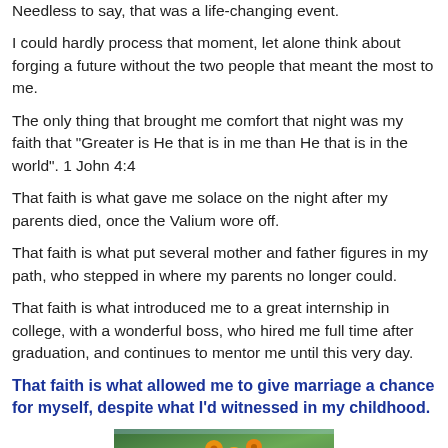Needless to say, that was a life-changing event.
I could hardly process that moment, let alone think about forging a future without the two people that meant the most to me.
The only thing that brought me comfort that night was my faith that "Greater is He that is in me than He that is in the world". 1 John 4:4
That faith is what gave me solace on the night after my parents died, once the Valium wore off.
That faith is what put several mother and father figures in my path, who stepped in where my parents no longer could.
That faith is what introduced me to a great internship in college, with a wonderful boss, who hired me full time after graduation, and continues to mentor me until this very day.
That faith is what allowed me to give marriage a chance for myself, despite what I'd witnessed in my childhood.
[Figure (photo): A floral arrangement with orange flowers and green tropical leaves, partially visible at bottom of page.]